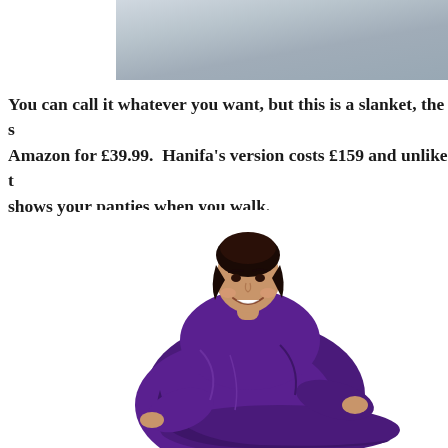[Figure (photo): Top portion of an outdoor photo showing a grey snowy or sandy landscape background, cropped at the top of the page.]
You can call it whatever you want, but this is a slanket, the s... Amazon for £39.99.  Hanifa's version costs £159 and unlike t... shows your panties when you walk.
[Figure (photo): A smiling woman wearing a large purple slanket/blanket with sleeves, posing with arms outstretched, on a white background.]